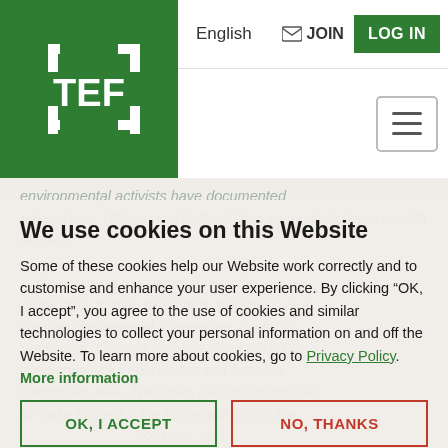[Figure (logo): TEF logo - white bracket and text TEF on green background]
English  JOIN  LOG IN
environmental activists have documented rates of over 100 acres of deforestation every day to keep up with demand. One start-up has decided to tackle this problem by turning discarded chopsticks as a construction material. Chopvalue, based in Vancouver, Canada, collects about 350,000 used chopsticks every week just from the Vancouver area. They then use the chopsticks to make things for the home and office, like coasters, and even decks. Founder Felix Bock explains,
We use cookies on this Website
Some of these cookies help our Website work correctly and to customise and enhance your user experience. By clicking “OK, I accept”, you agree to the use of cookies and similar technologies to collect your personal information on and off the Website. To learn more about cookies, go to Privacy Policy. More information
OK, I ACCEPT
NO, THANKS